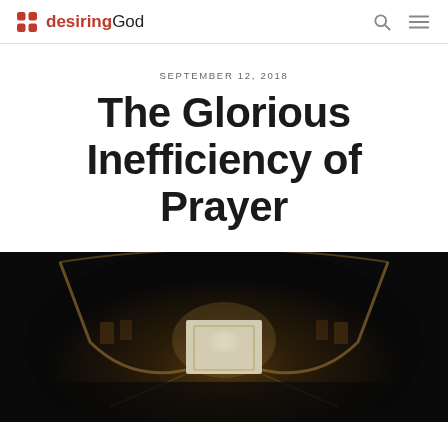desiringGod
SEPTEMBER 12, 2018
The Glorious Inefficiency of Prayer
[Figure (photo): Dark architectural photo showing interior of a building viewed from above, with curved corridors or stairwells lit with warm light against a very dark background.]